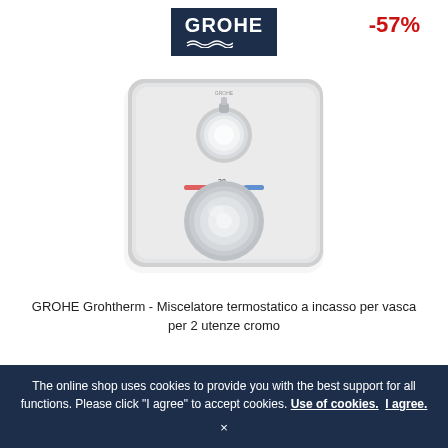[Figure (logo): GROHE brand logo: white text on dark navy blue background with wave symbol]
-57%
[Figure (photo): GROHE Grohtherm thermostatic concealed mixer for bathtub, chrome finish, square plate with two round knobs]
GROHE Grohtherm - Miscelatore termostatico a incasso per vasca per 2 utenze cromo
759,09 €*
320,39 €
The online shop uses cookies to provide you with the best support for all functions. Please click "I agree" to accept cookies. Use of cookies.  I agree.
×